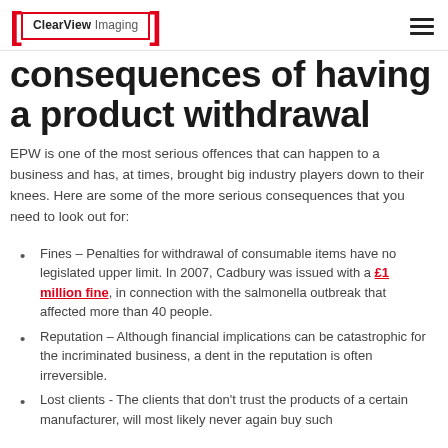ClearView Imaging
consequences of having a product withdrawal
EPW is one of the most serious offences that can happen to a business and has, at times, brought big industry players down to their knees. Here are some of the more serious consequences that you need to look out for:
Fines – Penalties for withdrawal of consumable items have no legislated upper limit. In 2007, Cadbury was issued with a £1 million fine, in connection with the salmonella outbreak that affected more than 40 people.
Reputation – Although financial implications can be catastrophic for the incriminated business, a dent in the reputation is often irreversible.
Lost clients - The clients that don't trust the products of a certain manufacturer, will most likely never again buy such